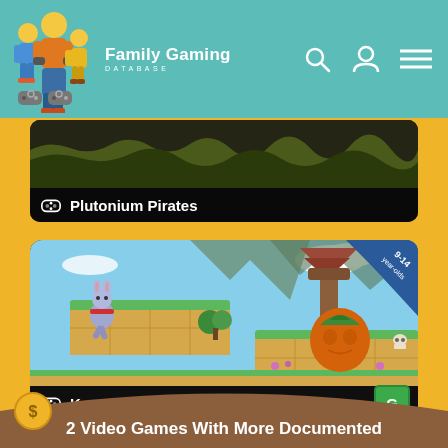Family Gaming Database
[Figure (screenshot): Plutonium Pirates game card with dark background and game title]
[Figure (screenshot): Kaze and the Wild Masks game card showing colorful platform game screenshot with rabbit character and pumpkin enemies. Age badge: 9-14 year-olds. Rating: G]
2 Video Games With More Documented